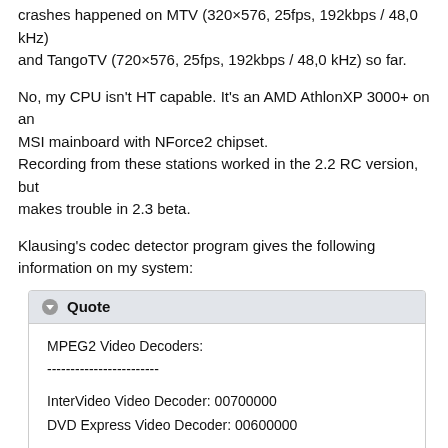crashes happened on MTV (320×576, 25fps, 192kbps / 48,0 kHz) and TangoTV (720×576, 25fps, 192kbps / 48,0 kHz) so far.
No, my CPU isn't HT capable. It's an AMD AthlonXP 3000+ on an MSI mainboard with NForce2 chipset.
Recording from these stations worked in the 2.2 RC version, but makes trouble in 2.3 beta.
Klausing's codec detector program gives the following information on my system:
Quote
MPEG2 Video Decoders:
------------------------
InterVideo Video Decoder: 00700000
DVD Express Video Decoder: 00600000

MPEG Audio Decoders:
------------------------
AC3Filter: 40000000
ffdshow Audio Decoder: 3FFFFFFF
MPEG Audio Decoder: 02000001